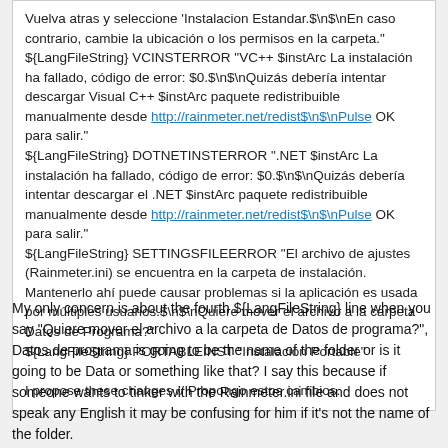Vuelva atras y seleccione 'Instalacion Estandar.$\n$\nEn caso contrario, cambie la ubicación o los permisos en la carpeta."
${LangFileString} VCINSTERROR "VC++ $instArc La instalación ha fallado, código de error: $0.$\n$\nQuizás debería intentar descargar Visual C++ $instArc paquete redistribuible manualmente desde http://rainmeter.net/redist$\n$\nPulse OK para salir."
${LangFileString} DOTNETINSTERROR ".NET $instArc La instalación ha fallado, código de error: $0.$\n$\nQuizás debería intentar descargar el .NET $instArc paquete redistribuible manualmente desde http://rainmeter.net/redist$\n$\nPulse OK para salir."
${LangFileString} SETTINGSFILEERROR "El archivo de ajustes (Rainmeter.ini) se encuentra en la carpeta de instalación. Mantenerlo ahí puede causar problemas si la aplicación es usada por múltiples usuarios.$\n$\nQuiere mover el archivo a la carpeta Datos de Programa?"
${LangFileString} PORTABLEINST "Instalación Portable"

I propose these changes // Propongo estos cambios.
My only concern is about the fourth ${LangFileString} line when you say "Quiere mover el archivo a la carpeta de Datos de programa?", Datos de programa is going to be the name of the folder or is it going to be Data or something like that? I say this because if someone wants to tinker with the Rainmeter.ini file and does not speak any English it may be confusing for him if it's not the name of the folder.
Overall, I think those changes are an improvement.